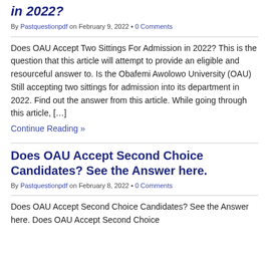in 2022?
By Pastquestionpdf on February 9, 2022 • 0 Comments
Does OAU Accept Two Sittings For Admission in 2022? This is the question that this article will attempt to provide an eligible and resourceful answer to. Is the Obafemi Awolowo University (OAU) Still accepting two sittings for admission into its department in 2022. Find out the answer from this article. While going through this article, […]
Continue Reading »
Does OAU Accept Second Choice Candidates? See the Answer here.
By Pastquestionpdf on February 8, 2022 • 0 Comments
Does OAU Accept Second Choice Candidates? See the Answer here. Does OAU Accept Second Choice